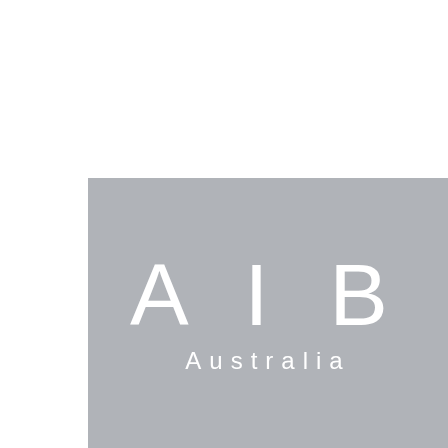[Figure (logo): AIB Australia logo on a grey rectangular background. Large white letters 'A I B' with wide letter-spacing in a light-weight sans-serif font, and below it the word 'Australia' in smaller spaced white text.]